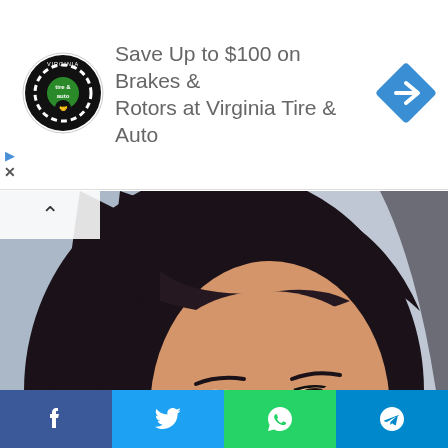[Figure (infographic): Advertisement banner for Virginia Tire & Auto with circular logo on left, text 'Save Up to $100 on Brakes & Rotors at Virginia Tire & Auto' in center, and blue diamond direction sign on right]
[Figure (photo): Close-up portrait of a young South Asian woman wearing traditional embroidered clothing in pink and red floral patterns, large round gold and red earrings, nose ring, with dark wavy hair, looking to her upper left]
[Figure (infographic): Social media sharing bar at bottom with four buttons: Facebook (blue), Twitter (light blue), WhatsApp (green), Telegram (cyan/blue)]